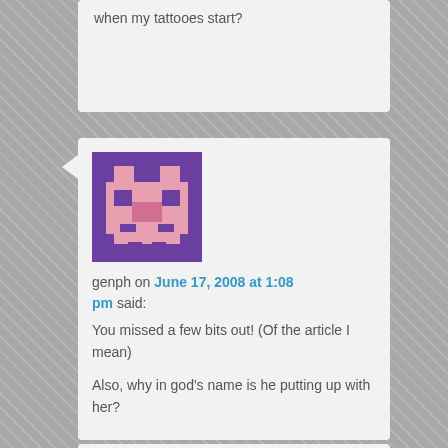when my tattooes start?
[Figure (illustration): Pixel art avatar for user genph — purple background with pink pixelated face]
genph on June 17, 2008 at 1:08 pm said:
You missed a few bits out! (Of the article I mean)

Also, why in god’s name is he putting up with her?
[Figure (illustration): Pixel art avatar for a third commenter — brown and pink pixelated face]